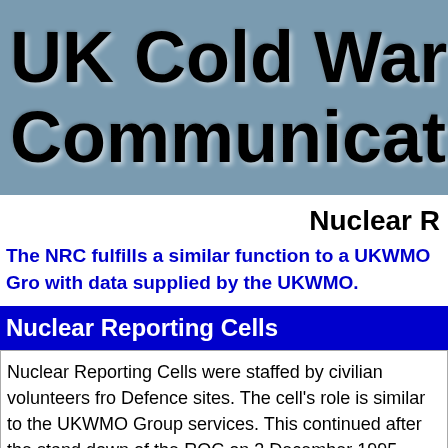UK Cold War Communications
Nuclear R
The NRC fulfills a similar function to a UKWMO Gro with data supplied by the UKWMO.
Nuclear Reporting Cells
Nuclear Reporting Cells were staffed by civilian volunteers fro Defence sites. The cell's role is similar to the UKWMO Group services. This continued after the stand down of the ROC on 3 December 1995.